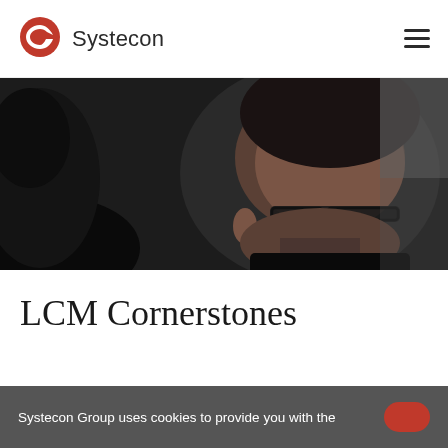Systecon
[Figure (photo): Close-up photo of a man wearing glasses looking downward, dark background, another person partially visible on the left]
LCM Cornerstones
Systecon Group uses cookies to provide you with the